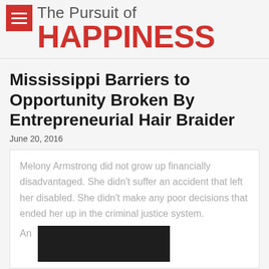The Pursuit of HAPPINESS
Mississippi Barriers to Opportunity Broken By Entrepreneurial Hair Braider
June 20, 2016
Melony Armstrong did not grow up financially disadvantaged. She didn't suffer an accident that left her disabled. She didn't make any poor decisions that ended her up in the criminal justice system. An
[Figure (photo): Dark photo of a person, partially visible at bottom right of excerpt box]